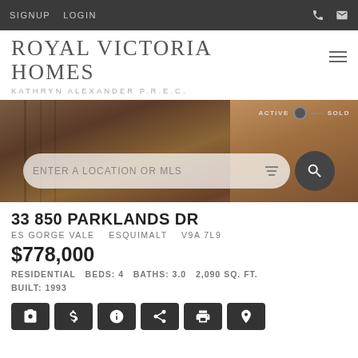SIGNUP   LOGIN
ROYAL VICTORIA HOMES
KATHRYN ALEXANDER P.R.E.C.
[Figure (screenshot): Hero background image showing wooden door/cabinet details with search bar overlay reading ENTER A LOCATION OR MLS and ACTIVE/SOLD toggle]
33 850 PARKLANDS DR
ES GORGE VALE   ESQUIMALT   V9A 7L9
$778,000
RESIDENTIAL  BEDS: 4  BATHS: 3.0  2,090 SQ. FT.
BUILT: 1993